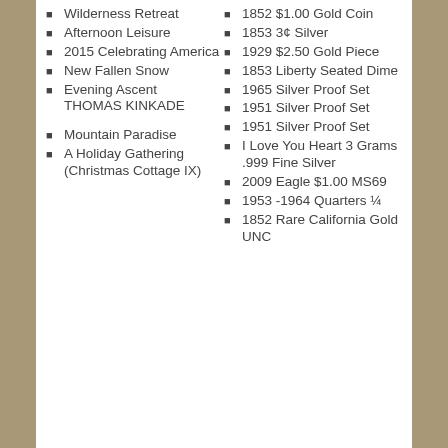Wilderness Retreat
Afternoon Leisure
2015 Celebrating America
New Fallen Snow
Evening Ascent THOMAS KINKADE
Mountain Paradise
A Holiday Gathering (Christmas Cottage IX)
1852 $1.00 Gold Coin
1853 3¢ Silver
1929 $2.50 Gold Piece
1853 Liberty Seated Dime
1965 Silver Proof Set
1951 Silver Proof Set
1951 Silver Proof Set
I Love You Heart 3 Grams .999 Fine Silver
2009 Eagle $1.00 MS69
1953 -1964 Quarters ¼
1852 Rare California Gold UNC